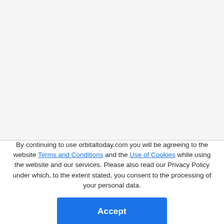Related Articles
By continuing to use orbitaltoday.com you will be agreeing to the website Terms and Conditions and the Use of Cookies while using the website and our services. Please also read our Privacy Policy under which, to the extent stated, you consent to the processing of your personal data.
Accept